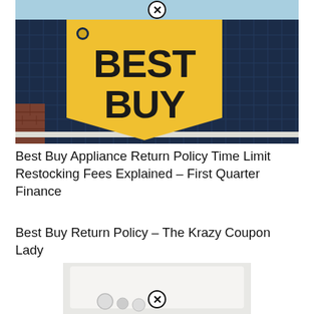[Figure (photo): Photo of Best Buy store exterior showing the iconic yellow price-tag shaped Best Buy logo on a dark blue grid-patterned wall, with blue sky above and brick visible at lower left]
Best Buy Appliance Return Policy Time Limit Restocking Fees Explained – First Quarter Finance
Best Buy Return Policy – The Krazy Coupon Lady
[Figure (photo): Partial photo of what appears to be a white appliance or electronic device, partially cut off at bottom of page]